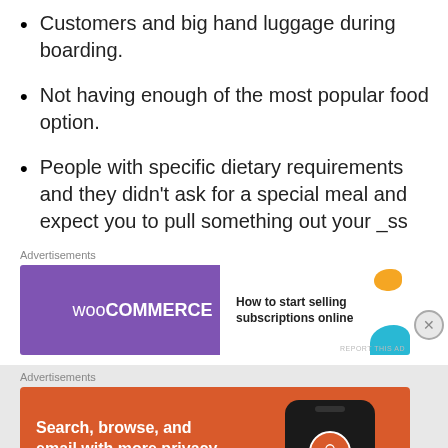Customers and big hand luggage during boarding.
Not having enough of the most popular food option.
People with specific dietary requirements and they didn't ask for a special meal and expect you to pull something out your _ss
Advertisements
[Figure (other): WooCommerce advertisement banner: 'How to start selling subscriptions online']
Advertisements
[Figure (other): DuckDuckGo advertisement: 'Search, browse, and email with more privacy. All in One Free App']